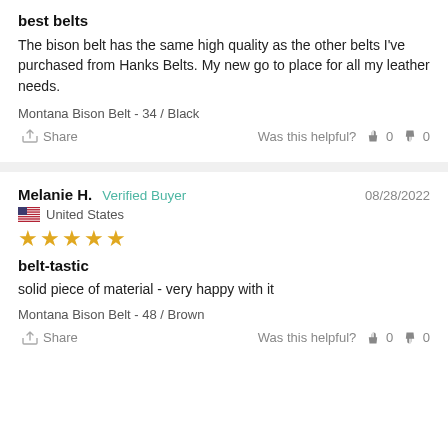best belts
The bison belt has the same high quality as the other belts I've purchased from Hanks Belts. My new go to place for all my leather needs.
Montana Bison Belt - 34 / Black
Share  Was this helpful?  👍 0  👎 0
Melanie H.  Verified Buyer  08/28/2022
🇺🇸 United States
★★★★★
belt-tastic
solid piece of material - very happy with it
Montana Bison Belt - 48 / Brown
Share  Was this helpful?  👍 0  👎 0